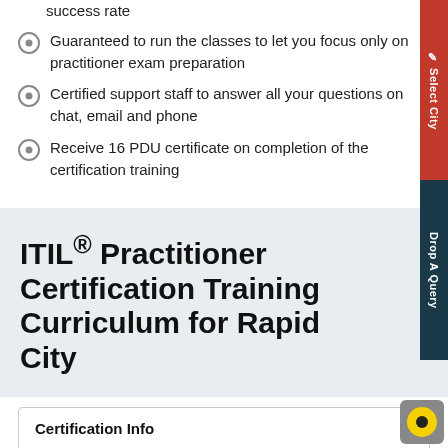success rate
Guaranteed to run the classes to let you focus only on practitioner exam preparation
Certified support staff to answer all your questions on chat, email and phone
Receive 16 PDU certificate on completion of the certification training
ITIL® Practitioner Certification Training Curriculum for Rapid City
Certification Info
ITIL® Practitioner